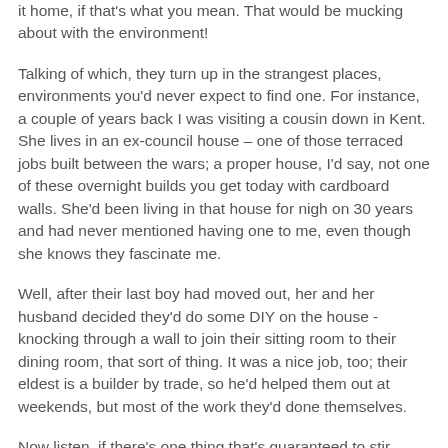it home, if that's what you mean. That would be mucking about with the environment!
Talking of which, they turn up in the strangest places, environments you'd never expect to find one. For instance, a couple of years back I was visiting a cousin down in Kent. She lives in an ex-council house – one of those terraced jobs built between the wars; a proper house, I'd say, not one of these overnight builds you get today with cardboard walls. She'd been living in that house for nigh on 30 years and had never mentioned having one to me, even though she knows they fascinate me.
Well, after their last boy had moved out, her and her husband decided they'd do some DIY on the house - knocking through a wall to join their sitting room to their dining room, that sort of thing. It was a nice job, too; their eldest is a builder by trade, so he'd helped them out at weekends, but most of the work they'd done themselves.
Now listen, if there's one thing that's guaranteed to stir things up, its a bit of building work. They don't like it, see. Change is